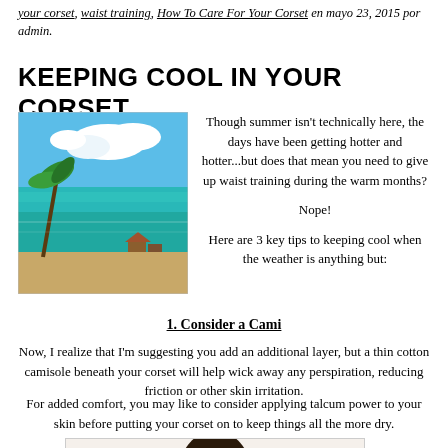your corset, waist training, How To Care For Your Corset en mayo 23, 2015 por admin.
KEEPING COOL IN YOUR CORSET
[Figure (photo): Tropical beach scene with palm trees, turquoise water, white sand, and blue sky with clouds]
Though summer isn't technically here, the days have been getting hotter and hotter...but does that mean you need to give up waist training during the warm months?

Nope!

Here are 3 key tips to keeping cool when the weather is anything but:
1. Consider a Cami
Now, I realize that I'm suggesting you add an additional layer, but a thin cotton camisole beneath your corset will help wick away any perspiration, reducing friction or other skin irritation.
For added comfort, you may like to consider applying talcum power to your skin before putting your corset on to keep things all the more dry.
[Figure (photo): Woman with dark curly hair and a red flower, wearing white, portrait style]